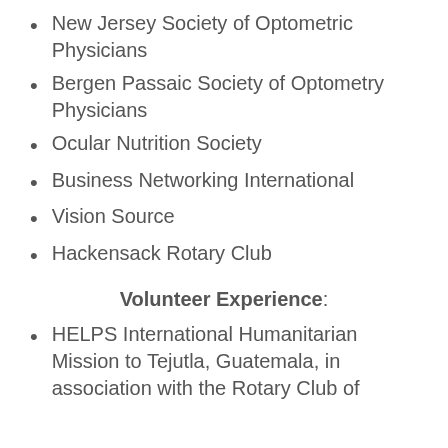New Jersey Society of Optometric Physicians
Bergen Passaic Society of Optometry Physicians
Ocular Nutrition Society
Business Networking International
Vision Source
Hackensack Rotary Club
Volunteer Experience:
HELPS International Humanitarian Mission to Tejutla, Guatemala, in association with the Rotary Club of